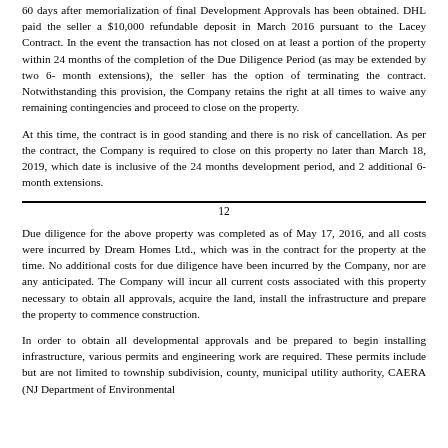60 days after memorialization of final Development Approvals has been obtained. DHL paid the seller a $10,000 refundable deposit in March 2016 pursuant to the Lacey Contract. In the event the transaction has not closed on at least a portion of the property within 24 months of the completion of the Due Diligence Period (as may be extended by two 6- month extensions), the seller has the option of terminating the contract. Notwithstanding this provision, the Company retains the right at all times to waive any remaining contingencies and proceed to close on the property.
At this time, the contract is in good standing and there is no risk of cancellation. As per the contract, the Company is required to close on this property no later than March 18, 2019, which date is inclusive of the 24 months development period, and 2 additional 6-month extensions.
12
Due diligence for the above property was completed as of May 17, 2016, and all costs were incurred by Dream Homes Ltd., which was in the contract for the property at the time. No additional costs for due diligence have been incurred by the Company, nor are any anticipated. The Company will incur all current costs associated with this property necessary to obtain all approvals, acquire the land, install the infrastructure and prepare the property to commence construction.
In order to obtain all developmental approvals and be prepared to begin installing infrastructure, various permits and engineering work are required. These permits include but are not limited to township subdivision, county, municipal utility authority, CAERA (NJ Department of Environmental